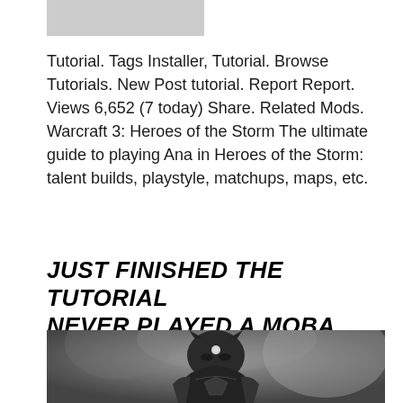[Figure (other): Gray rectangle placeholder image, likely a website logo or header image thumbnail]
Tutorial. Tags Installer, Tutorial. Browse Tutorials. New Post tutorial. Report Report. Views 6,652 (7 today) Share. Related Mods. Warcraft 3: Heroes of the Storm The ultimate guide to playing Ana in Heroes of the Storm: talent builds, playstyle, matchups, maps, etc.
JUST FINISHED THE TUTORIAL NEVER PLAYED A MOBA BEFORE
[Figure (illustration): Black and white pencil/charcoal illustration of Black Panther character in armored suit, dramatic lighting with stormy background]